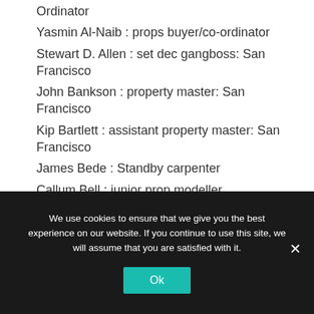Ordinator
Yasmin Al-Naib : props buyer/co-ordinator
Stewart D. Allen : set dec gangboss: San Francisco
John Bankson : property master: San Francisco
Kip Bartlett : assistant property master: San Francisco
James Bede : Standby carpenter
Callum Bell : junior prop modeller
We use cookies to ensure that we give you the best experience on our website. If you continue to use this site, we will assume that you are satisfied with it.